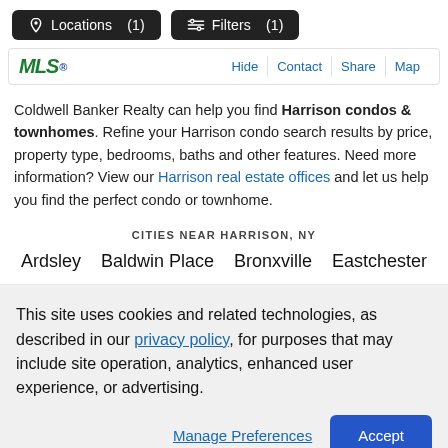Locations (1)   Filters (1)
[Figure (logo): MLS logo with green italic text and blue superscript]
Coldwell Banker Realty can help you find Harrison condos & townhomes. Refine your Harrison condo search results by price, property type, bedrooms, baths and other features. Need more information? View our Harrison real estate offices and let us help you find the perfect condo or townhome.
CITIES NEAR HARRISON, NY
Ardsley
Baldwin Place
Bronxville
Eastchester
This site uses cookies and related technologies, as described in our privacy policy, for purposes that may include site operation, analytics, enhanced user experience, or advertising.
Manage Preferences   Accept